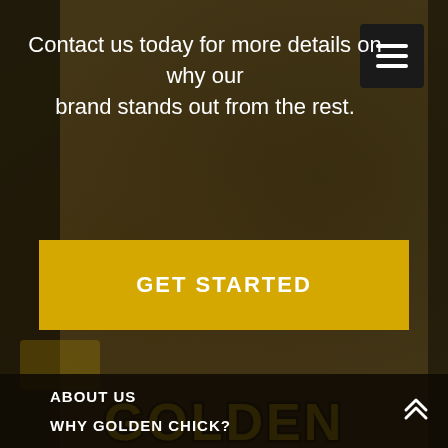Contact us today for more details on why our brand stands out from the rest.
[Figure (other): Hamburger menu button (three horizontal lines on black background)]
GET STARTED
[Figure (logo): Golden Chick logo in yellow with black outline text]
[Figure (other): Facebook and LinkedIn social media icons in yellow circles]
ABOUT US
WHY GOLDEN CHICK?
[Figure (other): Scroll-up double chevron arrow icon]